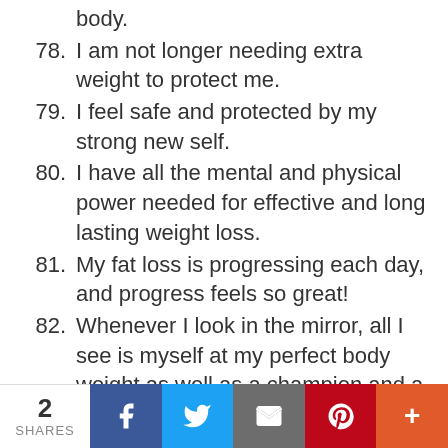body.
78. I am not longer needing extra weight to protect me.
79. I feel safe and protected by my strong new self.
80. I have all the mental and physical power needed for effective and long lasting weight loss.
81. My fat loss is progressing each day, and progress feels so great!
82. Whenever I look in the mirror, all I see is myself at my perfect body weight as well as a champion and a warrior.
83. I only think about my past accomplishments
2 SHARES [Facebook] [Twitter] [Email] [Pinterest] [More]